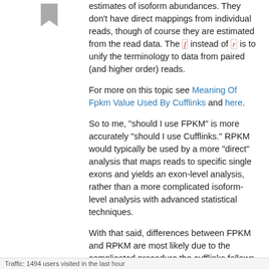estimates of isoform abundances. They don't have direct mappings from individual reads, though of course they are estimated from the read data. The f instead of r is to unify the terminology to data from paired (and higher order) reads.
For more on this topic see Meaning Of Fpkm Value Used By Cufflinks and here.
So to me, "should I use FPKM" is more accurately "should I use Cufflinks." RPKM would typically be used by a more "direct" analysis that maps reads to specific single exons and yields an exon-level analysis, rather than a more complicated isoform-level analysis with advanced statistical techniques.
With that said, differences between FPKM and RPKM are most likely due to the complicated procedure the cufflinks follows to estimate isoform abundance, rather than any paired vs. single counting issue.
Furthermore, I don't think the FPKM vs. RPKM question has any direct bearing to the ENCODE results, as it above.
Traffic: 1494 users visited in the last hour